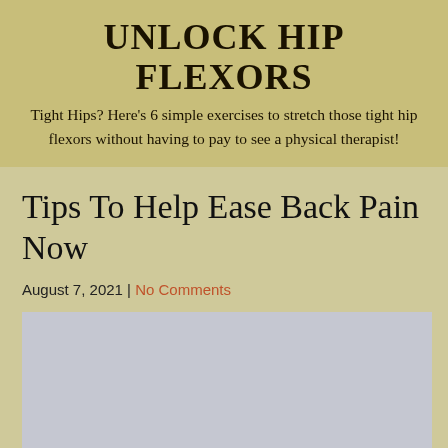UNLOCK HIP FLEXORS
Tight Hips? Here's 6 simple exercises to stretch those tight hip flexors without having to pay to see a physical therapist!
Tips To Help Ease Back Pain Now
August 7, 2021 | No Comments
[Figure (photo): Image placeholder (light gray rectangle)]